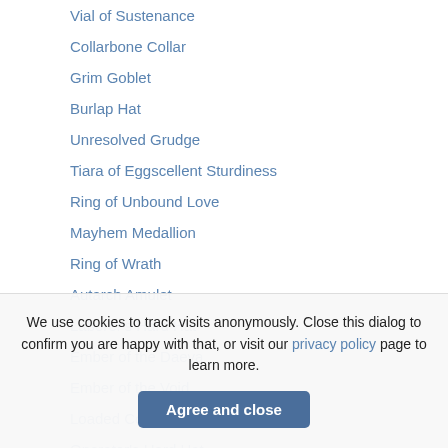Vial of Sustenance
Collarbone Collar
Grim Goblet
Burlap Hat
Unresolved Grudge
Tiara of Eggscellent Sturdiness
Ring of Unbound Love
Mayhem Medallion
Ring of Wrath
Autarch Amulet
Laborer's Hard Hat
Ember of the Daeva
Ember of the Void
Loaded Core
Operator's Hard Hat
We use cookies to track visits anonymously. Close this dialog to confirm you are happy with that, or visit our privacy policy page to learn more.